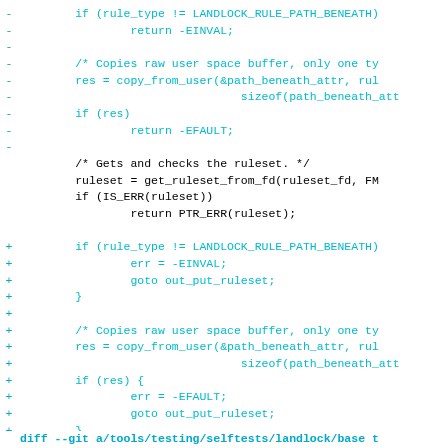Code diff showing changes to a landlock rule checking function in Linux kernel security code. Removed lines (marked with -) show original error handling returning -EINVAL and -EFAULT directly. Added lines (marked with +) show refactored error handling using goto out_put_ruleset pattern. Context lines show ruleset operations and comment about useless rule detection. Bottom line shows diff header for tools/testing/selftests/landlock/base.
diff --git a/tools/testing/selftests/landlock/base t